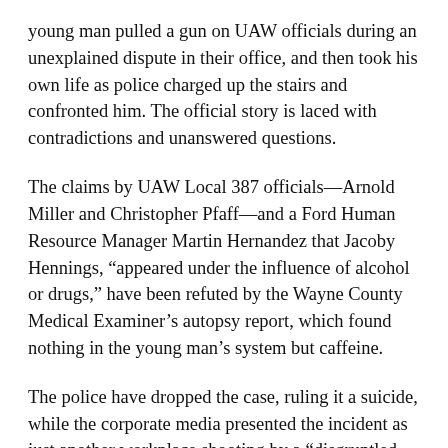young man pulled a gun on UAW officials during an unexplained dispute in their office, and then took his own life as police charged up the stairs and confronted him. The official story is laced with contradictions and unanswered questions.
The claims by UAW Local 387 officials—Arnold Miller and Christopher Pfaff—and a Ford Human Resource Manager Martin Hernandez that Jacoby Hennings, "appeared under the influence of alcohol or drugs," have been refuted by the Wayne County Medical Examiner's autopsy report, which found nothing in the young man's system but caffeine.
The police have dropped the case, ruling it a suicide, while the corporate media presented the incident as just another workplace shooting by a "disgruntled employee." But Jacoby was a well-loved and popular young man, with nearly 2,000 friends on his Facebook page, who had, as his